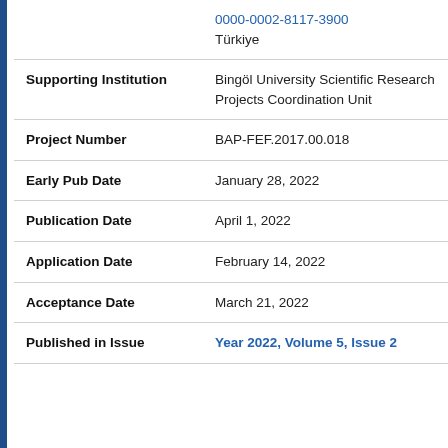| Field | Value |
| --- | --- |
|  | 0000-0002-8117-3900
Türkiye |
| Supporting Institution | Bingöl University Scientific Research Projects Coordination Unit |
| Project Number | BAP-FEF.2017.00.018 |
| Early Pub Date | January 28, 2022 |
| Publication Date | April 1, 2022 |
| Application Date | February 14, 2022 |
| Acceptance Date | March 21, 2022 |
| Published in Issue | Year 2022, Volume 5, Issue 2 |